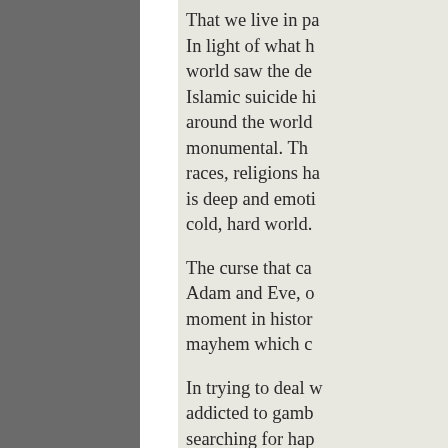That we live in pa... In light of what h... world saw the de... Islamic suicide hi... around the world... monumental. Th... races, religions ha... is deep and emoti... cold, hard world.

The curse that ca... Adam and Eve, o... moment in histor... mayhem which c...

In trying to deal w... addicted to gamb... searching for hap... prostitution and h... people. The side... broken homes, ch... suicide world wi...